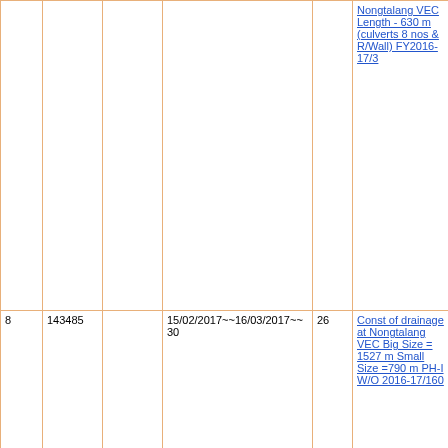| No. | Amount |  | Date | Days | Description |
| --- | --- | --- | --- | --- | --- |
|  |  |  |  |  | Nongtalang VEC Length - 630 m (culverts 8 nos & R/Wall) FY2016-17/3 |
| 8 | 143485 |  | 15/02/2017~~16/03/2017~~30 | 26 | Const of drainage at Nongtalang VEC Big Size = 1527 m Small Size =790 m PH-I W/O 2016-17/160 |
| 9 | 39809 |  | 14/08/2017~~15/08/2017~~2 | 2 | Roadside Tree Plantation at Nongtalang VEC for 474 (Fencing with brick stone wall) W/O 2017-18/DP-49 |
| 10 | 51486 |  | 05/09/2017~~23/10/2017~~49 | 42 | Construction |